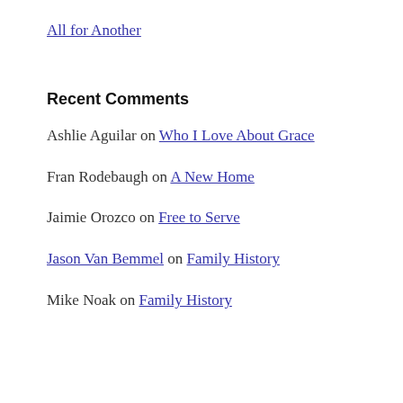All for Another
Recent Comments
Ashlie Aguilar on Who I Love About Grace
Fran Rodebaugh on A New Home
Jaimie Orozco on Free to Serve
Jason Van Bemmel on Family History
Mike Noak on Family History